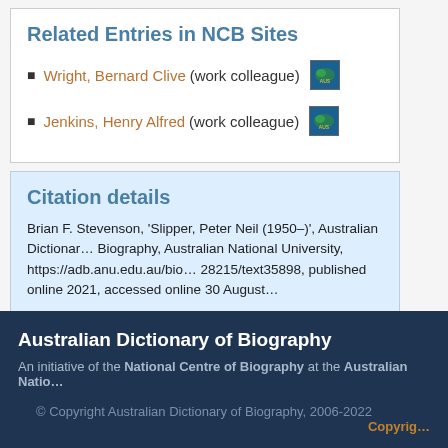Related Entries in NCB Sites
Wright, Bernard Clive (work colleague)
Jenkins, Henry Alfred (work colleague)
Citation details
Brian F. Stevenson, 'Slipper, Peter Neil (1950–)', Australian Dictionary of Biography, Australian National University, https://adb.anu.edu.au/bio 28215/text35898, published online 2021, accessed online 30 August
Australian Dictionary of Biography
An initiative of the National Centre of Biography at the Australian National University
© Copyright Australian Dictionary of Biography, 2006-2022   Copyright